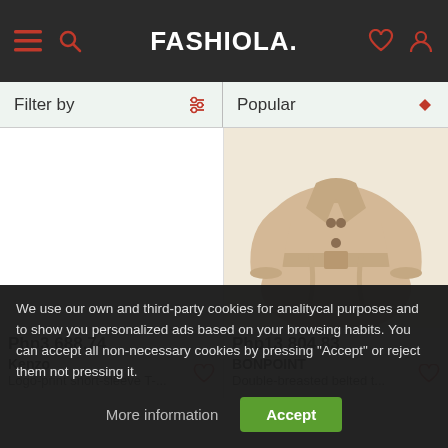FASHIOLA.
Filter by | Popular
[Figure (photo): Left product slot - empty/white area for Kenzo item]
[Figure (photo): Right product - beige/cream double-breasted belted trench coat by BONPOINT]
Php3,688.74
Kenzo
Logo-print short-sleeve T-...
Php13,804.83
BONPOINT
Double-breasted belted t...
We use our own and third-party cookies for analitycal purposes and to show you personalized ads based on your browsing habits. You can accept all non-necessary cookies by pressing "Accept" or reject them not pressing it.
More information
Accept